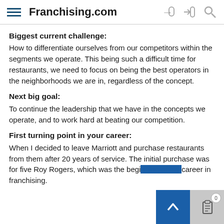Franchising.com
Biggest current challenge:
How to differentiate ourselves from our competitors within the segments we operate. This being such a difficult time for restaurants, we need to focus on being the best operators in the neighborhoods we are in, regardless of the concept.
Next big goal:
To continue the leadership that we have in the concepts we operate, and to work hard at beating our competition.
First turning point in your career:
When I decided to leave Marriott and purchase restaurants from them after 20 years of service. The initial purchase was for five Roy Rogers, which was the beginning of my career in franchising.